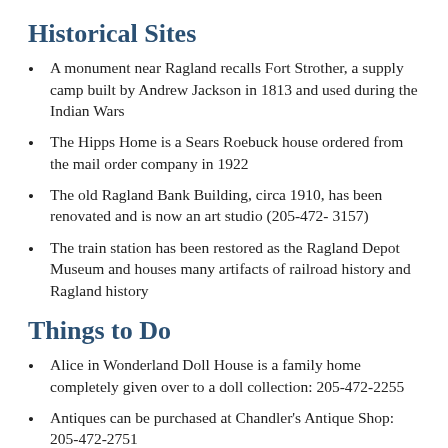Historical Sites
A monument near Ragland recalls Fort Strother, a supply camp built by Andrew Jackson in 1813 and used during the Indian Wars
The Hipps Home is a Sears Roebuck house ordered from the mail order company in 1922
The old Ragland Bank Building, circa 1910, has been renovated and is now an art studio (205-472- 3157)
The train station has been restored as the Ragland Depot Museum and houses many artifacts of railroad history and Ragland history
Things to Do
Alice in Wonderland Doll House is a family home completely given over to a doll collection: 205-472-2255
Antiques can be purchased at Chandler's Antique Shop: 205-472-2751
Fishing, boating, picnicking, and swimming are